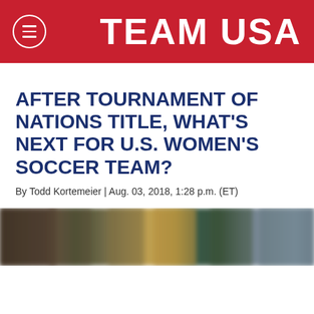TEAM USA
AFTER TOURNAMENT OF NATIONS TITLE, WHAT'S NEXT FOR U.S. WOMEN'S SOCCER TEAM?
By Todd Kortemeier | Aug. 03, 2018, 1:28 p.m. (ET)
[Figure (photo): Group photo of U.S. Women's Soccer Team, blurred/cropped horizontally]